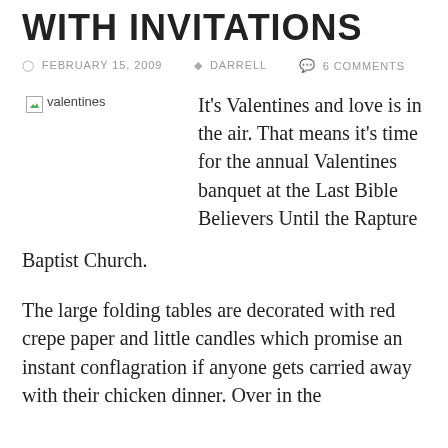WITH INVITATIONS
FEBRUARY 15, 2009  DARRELL  6 COMMENTS
[Figure (photo): Broken image placeholder labeled 'valentines']
It's Valentines and love is in the air. That means it's time for the annual Valentines banquet at the Last Bible Believers Until the Rapture Baptist Church.
The large folding tables are decorated with red crepe paper and little candles which promise an instant conflagration if anyone gets carried away with their chicken dinner. Over in the